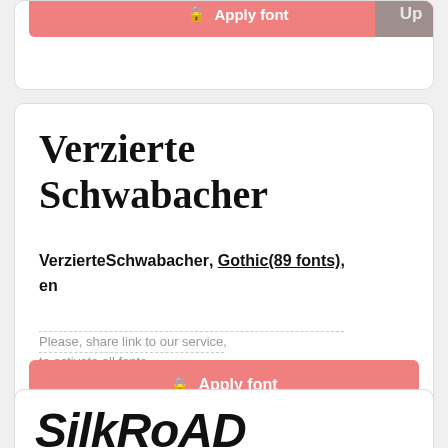[Figure (screenshot): Top partial card showing Apply font button with Up badge]
[Figure (screenshot): Font showcase card for Verzierte Schwabacher with font name, category Gothic(89 fonts), language en, share message, and Apply font button]
Verzierte Schwabacher
VerzierteSchwabacher, Gothic(89 fonts), en
Please, share link to our service, to activate all fonts
[Figure (screenshot): Bottom partial card showing SilkRoad font name preview]